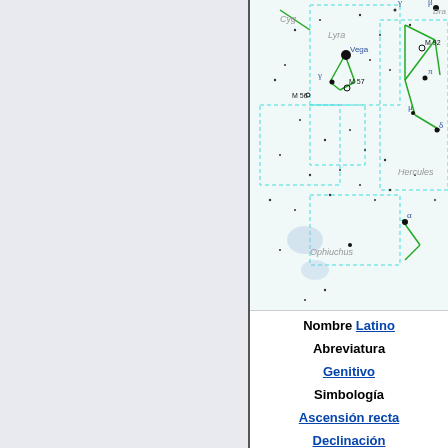[Figure (map): Star map showing constellations Lyra (with Vega, M57, M56), Hercules (with M92), Draco, Cygnus, Ophiuchus regions. Constellation boundaries in dashed cyan, constellation lines in green, stars as black dots, Greek letters labeling stars, Messier objects labeled.]
Nombre Latino
Abreviatura
Genitivo
Simbología
Ascensión recta
Declinación